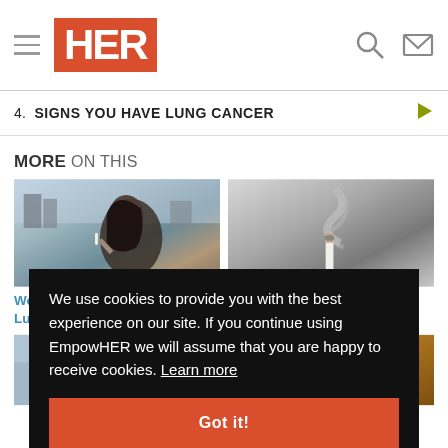HER
4. SIGNS YOU HAVE LUNG CANCER
MORE ON THIS
[Figure (photo): Woman smoking a cigarette outdoors]
[Figure (photo): Black and white photo of a lit cigarette with smoke]
Women More Likely to Develop Lung Cancer From Smoking
Former Smokers:
[Figure (photo): Woman smoking, partial view]
[Figure (photo): Warm-toned photo, partial view]
We use cookies to provide you with the best experience on our site. If you continue using EmpowHER we will assume that you are happy to receive cookies. Learn more
Got it!